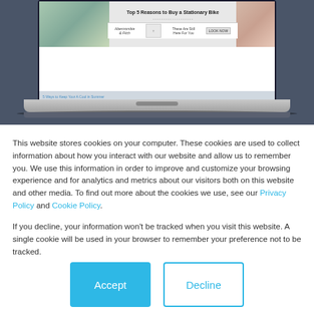[Figure (screenshot): A laptop computer displaying a website with an advertisement banner 'Top 5 Reasons to Buy a Stationary Bike' and product images, shown against a dark blue-grey background.]
This website stores cookies on your computer. These cookies are used to collect information about how you interact with our website and allow us to remember you. We use this information in order to improve and customize your browsing experience and for analytics and metrics about our visitors both on this website and other media. To find out more about the cookies we use, see our Privacy Policy and Cookie Policy.
If you decline, your information won't be tracked when you visit this website. A single cookie will be used in your browser to remember your preference not to be tracked.